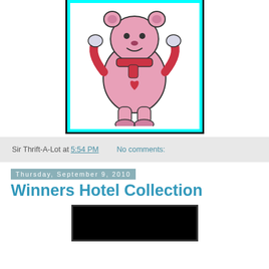[Figure (illustration): Cartoon pink bear character with red scarf and heart on chest, arms raised, inside a cyan-bordered black-outlined frame]
Sir Thrift-A-Lot at 5:54 PM   No comments:
Thursday, September 9, 2010
Winners Hotel Collection
[Figure (photo): Dark/black image at the bottom of the page, partially visible]